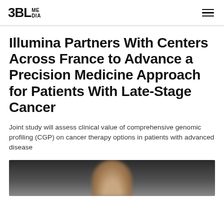3BL MEDIA
Illumina Partners With Centers Across France to Advance a Precision Medicine Approach for Patients With Late-Stage Cancer
Joint study will assess clinical value of comprehensive genomic profiling (CGP) on cancer therapy options in patients with advanced disease
[Figure (photo): Partial photo of a person, showing blurred head/face against a dark background, cropped at bottom of page]